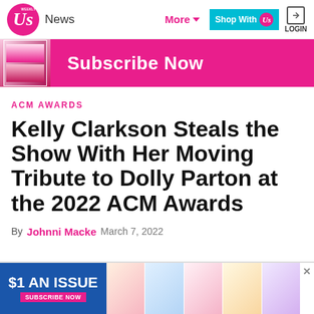Us Weekly — News | More | Shop With Us | LOGIN
[Figure (infographic): Pink Subscribe Now banner with magazine cover thumbnails]
ACM AWARDS
Kelly Clarkson Steals the Show With Her Moving Tribute to Dolly Parton at the 2022 ACM Awards
By Johnni Macke   March 7, 2022
[Figure (infographic): $1 AN ISSUE — Subscribe Now advertisement banner with Us Weekly magazine covers]